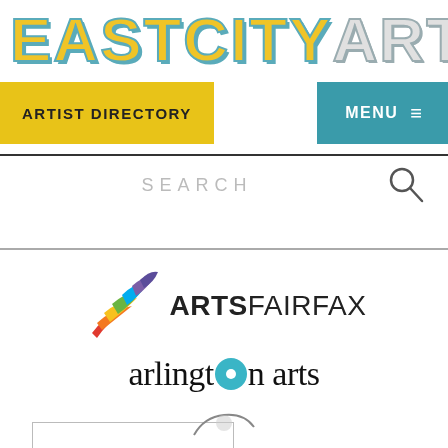[Figure (logo): EASTCITYART logo in stylized block letters with teal and yellow colors]
[Figure (logo): Navigation bar with ARTIST DIRECTORY yellow button and MENU teal button]
SEARCH
[Figure (logo): ArtsFairfax logo with colorful swirl graphic and bold text]
[Figure (logo): arlington arts logo with teal circle replacing the letter o in arlington]